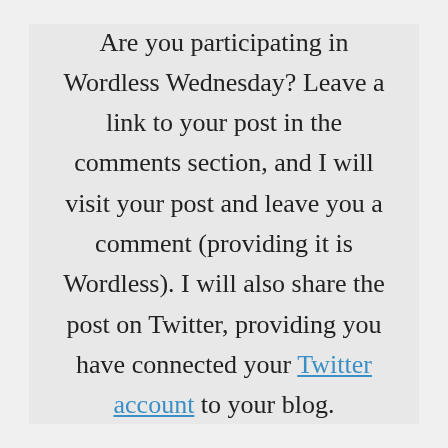Are you participating in Wordless Wednesday? Leave a link to your post in the comments section, and I will visit your post and leave you a comment (providing it is Wordless). I will also share the post on Twitter, providing you have connected your Twitter account to your blog.